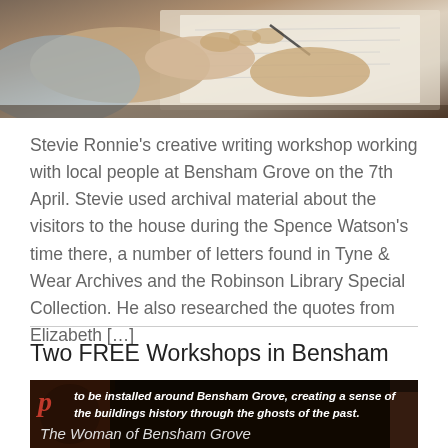[Figure (photo): Person's hands writing/drawing at a desk with papers, viewed from above at an angle]
Stevie Ronnie's creative writing workshop working with local people at Bensham Grove on the 7th April. Stevie used archival material about the visitors to the house during the Spence Watson's time there, a number of letters found in Tyne & Wear Archives and the Robinson Library Special Collection. He also researched the quotes from Elizabeth […]
Two FREE Workshops in Bensham
[Figure (photo): Dark photo with italic bold white text overlay about writing workshops at Bensham Grove and a red decorative letter, with caption 'The Woman of Bensham Grove' at bottom]